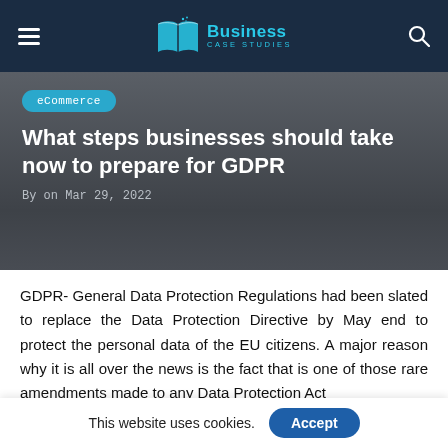Business Case Studies
[Figure (logo): Business Case Studies logo with open book icon in teal]
What steps businesses should take now to prepare for GDPR
By on Mar 29, 2022
GDPR- General Data Protection Regulations had been slated to replace the Data Protection Directive by May end to protect the personal data of the EU citizens. A major reason why it is all over the news is the fact that is one of those rare amendments made to any Data Protection Act
This website uses cookies. Accept